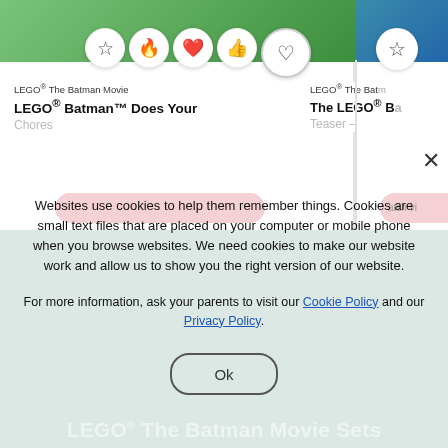[Figure (screenshot): Website screenshot showing LEGO Batman Movie content cards with reaction icons (star, fire, heart, thumbs up, heart outline) and card titles]
Websites use cookies to help them remember things. Cookies are small text files that are placed on your computer or mobile phone when you browse websites. We need cookies to make our website work and allow us to show you the right version of our website.

For more information, ask your parents to visit our Cookie Policy and our Privacy Policy.
Ok
LEGO® The Batman Movie Sets